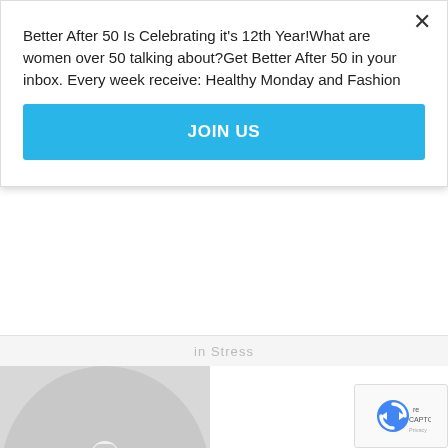Better After 50 Is Celebrating it's 12th Year!What are women over 50 talking about?Get Better After 50 in your inbox. Every week receive: Healthy Monday and Fashion
JOIN US
in Stress
[Figure (photo): Black and white photo of lips with a finger pressed against them, suggesting silence or secrecy]
AshleyMadison.com: How Stupid Can You Get?
August 25, 2015
In "Featured Articles"
Join the Conversation
[Figure (logo): reCAPTCHA badge with Privacy and Terms links]